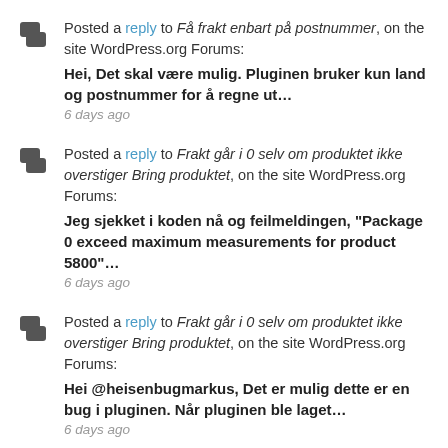Posted a reply to Få frakt enbart på postnummer, on the site WordPress.org Forums: Hei, Det skal være mulig. Pluginen bruker kun land og postnummer for å regne ut… 6 days ago
Posted a reply to Frakt går i 0 selv om produktet ikke overstiger Bring produktet, on the site WordPress.org Forums: Jeg sjekket i koden nå og feilmeldingen, "Package 0 exceed maximum measurements for product 5800"… 6 days ago
Posted a reply to Frakt går i 0 selv om produktet ikke overstiger Bring produktet, on the site WordPress.org Forums: Hei @heisenbugmarkus, Det er mulig dette er en bug i pluginen. Når pluginen ble laget… 6 days ago
Posted a reply to Uncaught Exception: No bring product was found on the shipping method, on the site WordPress.org Forums: